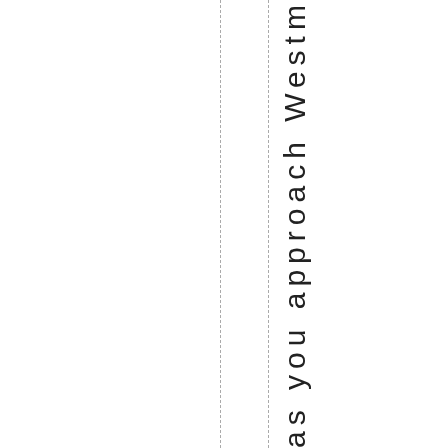as you approach Westminster. T